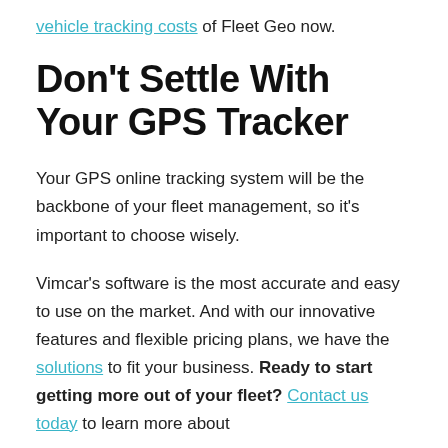vehicle tracking costs of Fleet Geo now.
Don't Settle With Your GPS Tracker
Your GPS online tracking system will be the backbone of your fleet management, so it's important to choose wisely.
Vimcar's software is the most accurate and easy to use on the market. And with our innovative features and flexible pricing plans, we have the solutions to fit your business. Ready to start getting more out of your fleet? Contact us today to learn more about